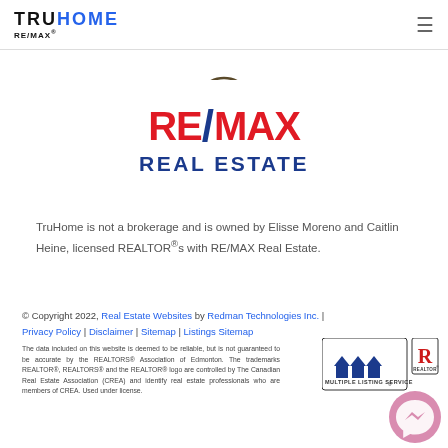TRUHOME RE/MAX
[Figure (logo): Circular badge/stamp partially visible at top center]
[Figure (logo): RE/MAX REAL ESTATE logo in red and dark blue]
TruHome is not a brokerage and is owned by Elisse Moreno and Caitlin Heine, licensed REALTOR®s with RE/MAX Real Estate.
© Copyright 2022, Real Estate Websites by Redman Technologies Inc. | Privacy Policy | Disclaimer | Sitemap | Listings Sitemap
The data included on this website is deemed to be reliable, but is not guaranteed to be accurate by the REALTORS® Association of Edmonton. The trademarks REALTOR®, REALTORS® and the REALTOR® logo are controlled by The Canadian Real Estate Association (CREA) and identify real estate professionals who are members of CREA. Used under license.
[Figure (logo): MLS Multiple Listing Service logo and REALTOR logo badges]
[Figure (logo): Facebook Messenger pink chat bubble button]